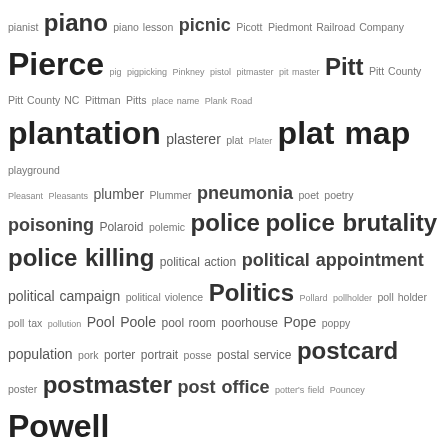pianist piano piano lesson picnic Picott Piedmont Railroad Company Pierce pig pigpicking Pinkney pistol pitmaster pit master Pitt Pitt County Pitt County NC Pittman Pitts place name Plank Road plantation plasterer plat Plater plat map playground Pleasant Pleasants plumber Plummer pneumonia poet poetry poisoning Polaroid polemic police police brutality police killing political action political appointment political campaign political violence Politics Pollard pollholder poll holder poll tax pollution Pool Poole pool room poorhouse Pope poppy population pork porter portrait posse postal service postcard poster postmaster post office potter's field Pouncey Powell power pole practical nurse prayer preacher predator pregnancy preliminary hearing Presbyterian church preservation Preservation North Carolina Preservation of Wilson presidential election Presidents Day presiding elder press presser pressing club pressing shop Price Pridgen primer Primitive Baptist Primitive Baptist Church Prince Prince Hall Masons principal prison prison camp prisoner prisoner abuse Pritchitt Privett privy